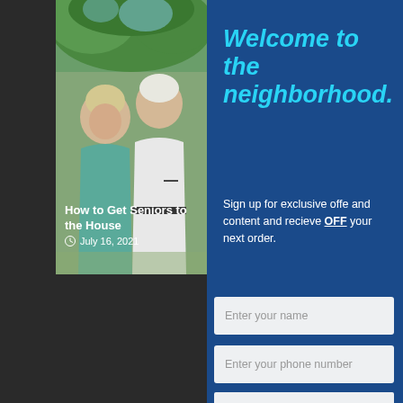[Figure (photo): Two senior adults laughing and talking outdoors in a garden setting. A woman with short blonde hair in a teal top faces a smiling older man with white hair and beard wearing a white shirt.]
How to Get Seniors to the House
July 16, 2021
Welcome to the neighborhood.
Sign up for exclusive offers and content and recieve OFF your next order.
Enter your name
Enter your phone number